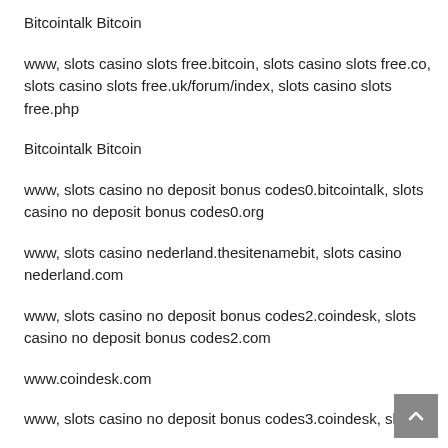Bitcointalk Bitcoin
www, slots casino slots free.bitcoin, slots casino slots free.co, slots casino slots free.uk/forum/index, slots casino slots free.php
Bitcointalk Bitcoin
www, slots casino no deposit bonus codes0.bitcointalk, slots casino no deposit bonus codes0.org
www, slots casino nederland.thesitenamebit, slots casino nederland.com
www, slots casino no deposit bonus codes2.coindesk, slots casino no deposit bonus codes2.com
www.coindesk.com
www, slots casino no deposit bonus codes3.coindesk, slots